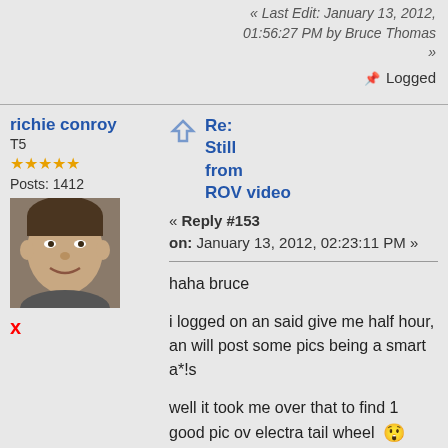« Last Edit: January 13, 2012, 01:56:27 PM by Bruce Thomas »
Logged
richie conroy
T5
Posts: 1412
[Figure (photo): Avatar photo of richie conroy, a man's face]
x
Re: Still from ROV video
« Reply #153 on: January 13, 2012, 02:23:11 PM »
haha bruce

i logged on an said give me half hour, an will post some pics being a smart a*!s

well it took me over that to find 1 good pic ov electra tail wheel 😲